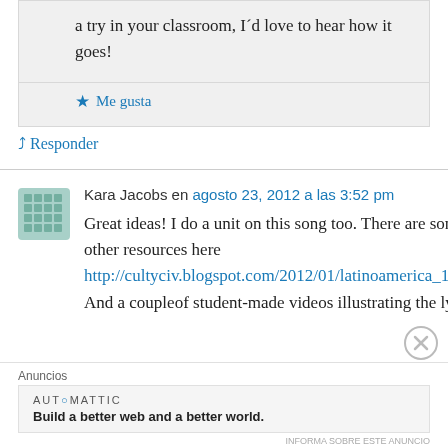...Thanks for the feedback. If you give it a try in your classroom, I'd love to hear how it goes!
★ Me gusta
↳ Responder
Kara Jacobs en agosto 23, 2012 a las 3:52 pm
Great ideas! I do a unit on this song too. There are some other resources here http://cultyciv.blogspot.com/2012/01/latinoamerica_19.html And a coupleof student-made videos illustrating the lyrics.
Anuncios
AUT⊙MATTIC
Build a better web and a better world.
INFORMA SOBRE ESTE ANUNCIO